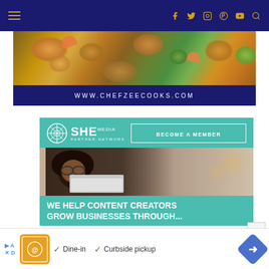Navigation bar with hamburger menu, social icons (Facebook, Twitter, Instagram, Pinterest, YouTube) and search
[Figure (photo): Food photo banner showing paella/seafood rice dish with shrimp and vegetables, with www.chefzeecooks.com URL below on dark navy background]
[Figure (infographic): SHE Media Partner Network advertisement. Header shows SHE Media logo and BECOME A MEMBER button. Photo of smiling woman with glasses using laptop. Text: WE HELP CONTENT CREATORS GROW BUSINESSES THROUGH... with LEARN MORE button]
[Figure (infographic): Bottom advertisement bar showing restaurant logo, checkmarks for Dine-in and Curbside pickup, navigation arrow icon]